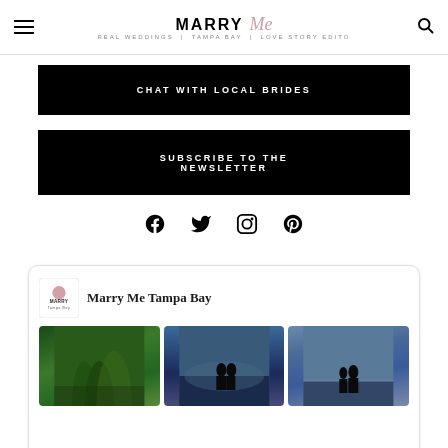Marry Me Tampa Bay — navigation bar with hamburger menu and search icon
CHAT WITH LOCAL BRIDES
SUBSCRIBE TO THE NEWSLETTER
[Figure (infographic): Social media icons: Facebook, Twitter, Instagram, Pinterest]
[Figure (infographic): Facebook page card for Marry Me Tampa Bay with logo and three wedding photo thumbnails showing tropical beach scenes]
Marry Me Tampa Bay